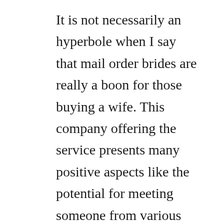It is not necessarily an hyperbole when I say that mail order brides are really a boon for those buying a wife. This company offering the service presents many positive aspects like the potential for meeting someone from various culture and country. This will likely provide the opportunity to make the associate of your partner unique. On the other hand there are also a few disadvantages that you should keep in mind just before taking the plunge.
There are several cons when it comes to matrimonial services. For one, it is absolutely free to join the web page. There are different mail buy brides firms offering cost-free members. However, there are results...